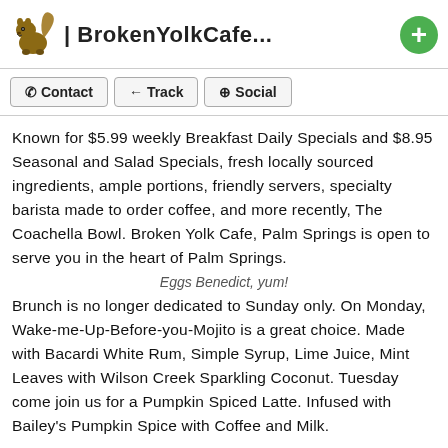| BrokenYolkCafe...
Known for $5.99 weekly Breakfast Daily Specials and $8.95 Seasonal and Salad Specials, fresh locally sourced ingredients, ample portions, friendly servers, specialty barista made to order coffee, and more recently, The Coachella Bowl. Broken Yolk Cafe, Palm Springs is open to serve you in the heart of Palm Springs.
Eggs Benedict, yum!
Brunch is no longer dedicated to Sunday only. On Monday, Wake-me-Up-Before-you-Mojito is a great choice. Made with Bacardi White Rum, Simple Syrup, Lime Juice, Mint Leaves with Wilson Creek Sparkling Coconut. Tuesday come join us for a Pumpkin Spiced Latte. Infused with Bailey's Pumpkin Spice with Coffee and Milk.